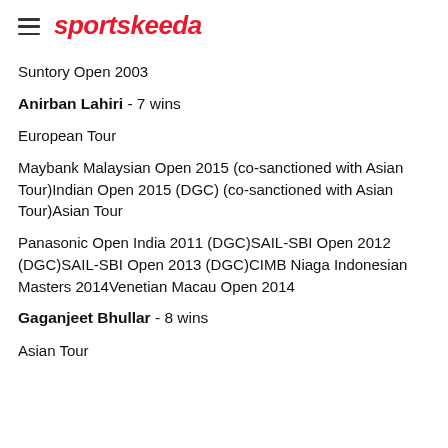sportskeeda
Suntory Open 2003
Anirban Lahiri - 7 wins
European Tour
Maybank Malaysian Open 2015 (co-sanctioned with Asian Tour)Indian Open 2015 (DGC) (co-sanctioned with Asian Tour)Asian Tour
Panasonic Open India 2011 (DGC)SAIL-SBI Open 2012 (DGC)SAIL-SBI Open 2013 (DGC)CIMB Niaga Indonesian Masters 2014Venetian Macau Open 2014
Gaganjeet Bhullar - 8 wins
Asian Tour